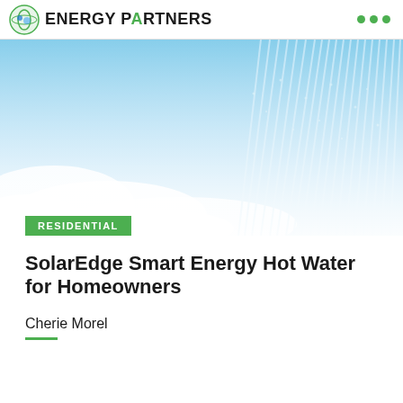ENERGY PARTNERS
[Figure (photo): Shower water spray against a blue sky background with white mist/clouds, and a green 'RESIDENTIAL' category badge overlaid at the bottom left]
SolarEdge Smart Energy Hot Water for Homeowners
Cherie Morel